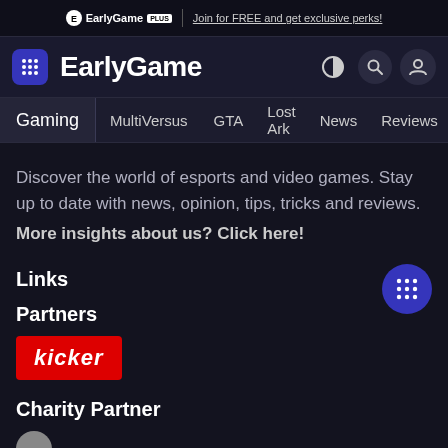EarlyGame PLUS | Join for FREE and get exclusive perks!
EarlyGame
Gaming  MultiVersus  GTA  Lost Ark  News  Reviews  Videos
Discover the world of esports and video games. Stay up to date with news, opinion, tips, tricks and reviews. More insights about us? Click here!
Links
Partners
[Figure (logo): Kicker logo — white italic text on red background]
Charity Partner